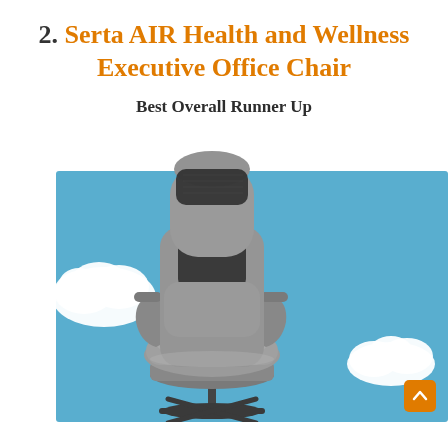2. Serta AIR Health and Wellness Executive Office Chair
Best Overall Runner Up
[Figure (photo): A gray Serta AIR Health and Wellness Executive Office Chair photographed against a light blue background with white clouds. The chair features a high back with black mesh accent, padded gray leather seat and armrests, and a black base with hydraulic lift.]